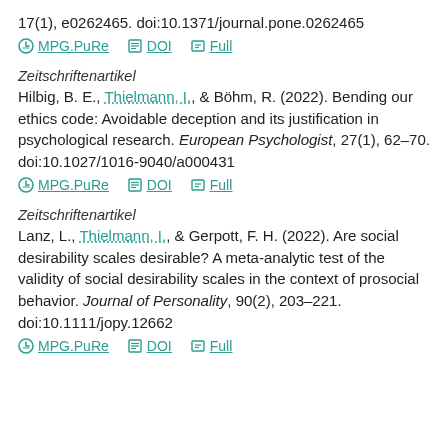17(1), e0262465. doi:10.1371/journal.pone.0262465
MPG.PuRe   DOI   Full
Zeitschriftenartikel
Hilbig, B. E., Thielmann, I., & Böhm, R. (2022). Bending our ethics code: Avoidable deception and its justification in psychological research. European Psychologist, 27(1), 62–70. doi:10.1027/1016-9040/a000431
MPG.PuRe   DOI   Full
Zeitschriftenartikel
Lanz, L., Thielmann, I., & Gerpott, F. H. (2022). Are social desirability scales desirable? A meta-analytic test of the validity of social desirability scales in the context of prosocial behavior. Journal of Personality, 90(2), 203–221. doi:10.1111/jopy.12662
MPG.PuRe   DOI   Full